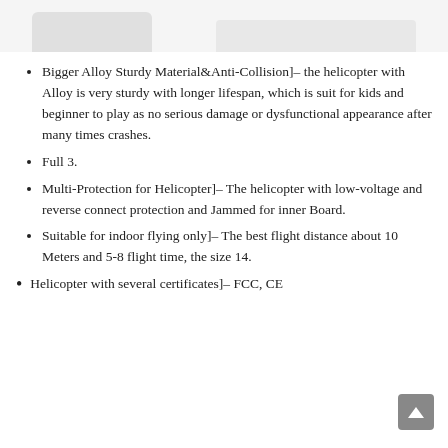[Figure (photo): Partial view of helicopter product images cropped at top of page]
Bigger Alloy Sturdy Material&Anti-Collision]– the helicopter with Alloy is very sturdy with longer lifespan, which is suit for kids and beginner to play as no serious damage or dysfunctional appearance after many times crashes.
Full 3.
Multi-Protection for Helicopter]– The helicopter with low-voltage and reverse connect protection and Jammed for inner Board.
Suitable for indoor flying only]– The best flight distance about 10 Meters and 5-8 flight time, the size 14.
Helicopter with several certificates]– FCC, CE